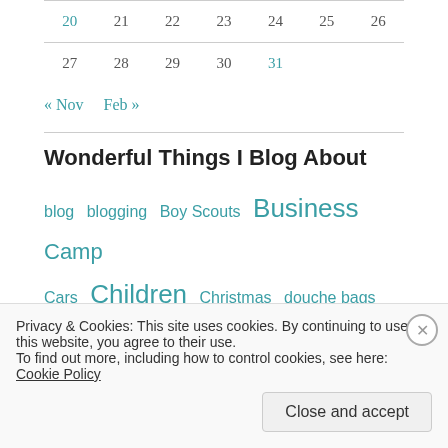| 20 | 21 | 22 | 23 | 24 | 25 | 26 |
| 27 | 28 | 29 | 30 | 31 |  |  |
« Nov   Feb »
Wonderful Things I Blog About
blog  blogging  Boy Scouts  Business  Camp  Cars  Children  Christmas  douche bags  Family
Privacy & Cookies: This site uses cookies. By continuing to use this website, you agree to their use.
To find out more, including how to control cookies, see here: Cookie Policy
Close and accept